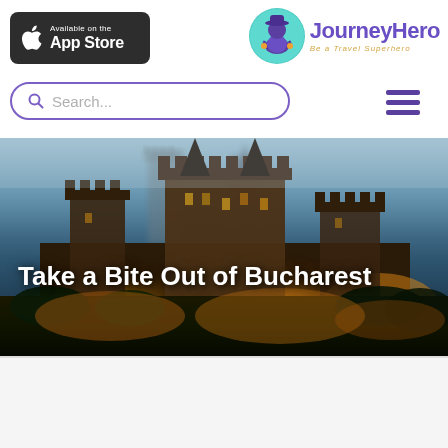[Figure (logo): Available on the App Store badge with Apple logo on dark rounded rectangle background]
[Figure (logo): JourneyHero logo with circular avatar icon of a female traveler silhouette in teal/purple circle, followed by text JourneyHero in purple and tagline Be a Travel Superhero in gold italic]
[Figure (other): Search bar with purple outline and magnifying glass icon, placeholder text Search...]
[Figure (other): Hamburger menu icon with three purple horizontal lines]
[Figure (photo): Dramatic nighttime photo of a medieval castle (Hunyad/Corvin Castle in Romania) illuminated with warm orange-gold lights against a moody blue-gray misty sky]
Take a Bite Out of Bucharest